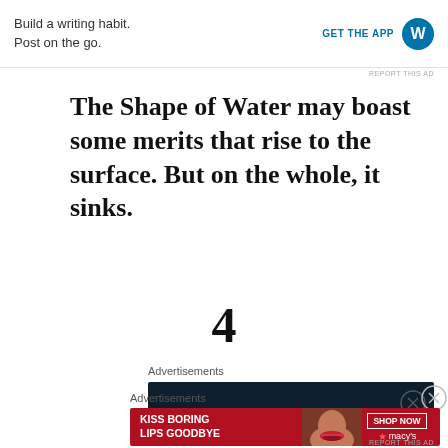[Figure (other): WordPress advertisement banner — 'Build a writing habit. Post on the go.' with GET THE APP button and WordPress logo]
REPORT THIS AD
The Shape of Water may boast some merits that rise to the surface. But on the whole, it sinks.
4
Advertisements
[Figure (other): Dark advertisement banner with close button]
Advertisements
[Figure (other): Macy's advertisement — KISS BORING LIPS GOODBYE with SHOP NOW button and Macy's logo, featuring woman's face]